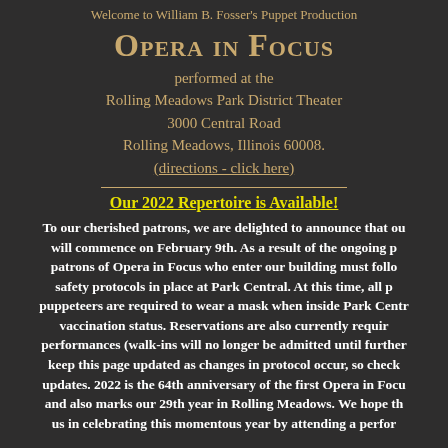Welcome to William B. Fosser's Puppet Production
Opera in Focus
performed at the
Rolling Meadows Park District Theater
3000 Central Road
Rolling Meadows, Illinois 60008.
(directions - click here)
Our 2022 Repertoire is Available!
To our cherished patrons, we are delighted to announce that ou will commence on February 9th. As a result of the ongoing p patrons of Opera in Focus who enter our building must follo safety protocols in place at Park Central. At this time, all p puppeteers are required to wear a mask when inside Park Centr vaccination status. Reservations are also currently requir performances (walk-ins will no longer be admitted until further keep this page updated as changes in protocol occur, so check updates. 2022 is the 64th anniversary of the first Opera in Focu and also marks our 29th year in Rolling Meadows. We hope th us in celebrating this momentous year by attending a perfor